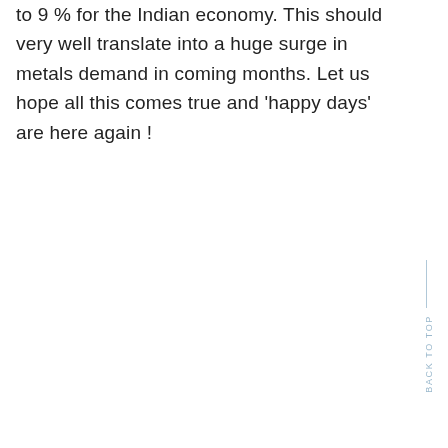to 9 % for the Indian economy. This should very well translate into a huge surge in metals demand in coming months. Let us hope all this comes true and 'happy days' are here again !
BACK TO TOP